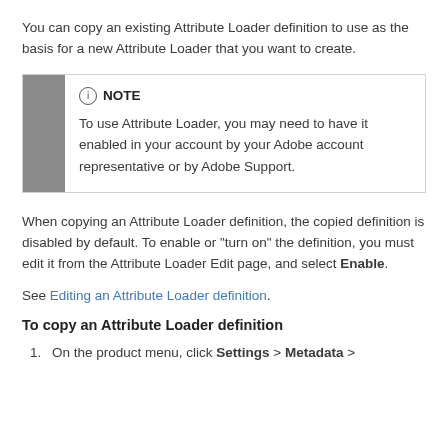You can copy an existing Attribute Loader definition to use as the basis for a new Attribute Loader that you want to create.
NOTE
To use Attribute Loader, you may need to have it enabled in your account by your Adobe account representative or by Adobe Support.
When copying an Attribute Loader definition, the copied definition is disabled by default. To enable or "turn on" the definition, you must edit it from the Attribute Loader Edit page, and select Enable.
See Editing an Attribute Loader definition.
To copy an Attribute Loader definition
On the product menu, click Settings > Metadata >